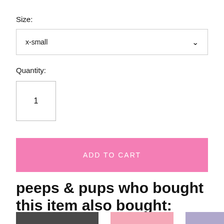Size:
x-small
Quantity:
1
ADD TO CART
peeps & pups who bought this item also bought:
[Figure (photo): Three product thumbnail images partially visible at bottom of page: a dark item on left, a pink item in center, and a light purple/blue item on right]